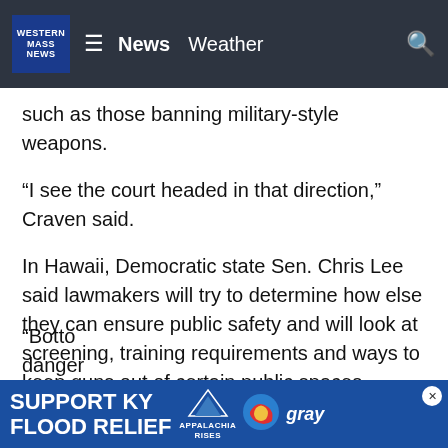WESTERN MASS NEWS | News  Weather
such as those banning military-style weapons.
“I see the court headed in that direction,” Craven said.
In Hawaii, Democratic state Sen. Chris Lee said lawmakers will try to determine how else they can ensure public safety and will look at screening, training requirements and ways to keep guns out of certain public spaces — provisions the justices said would be permitted.
ADVERTISEMENT
“Botto… danger…
[Figure (infographic): Advertisement banner: SUPPORT KY FLOOD RELIEF with Appalachia Rises logo and Gray television logo]